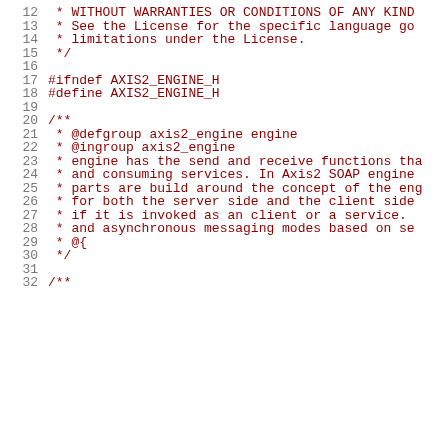Source code listing lines 12-32 showing C header file with license comment, preprocessor guards (#ifndef AXIS2_ENGINE_H, #define AXIS2_ENGINE_H), and Doxygen documentation comment block describing the axis2_engine group and engine functionality.